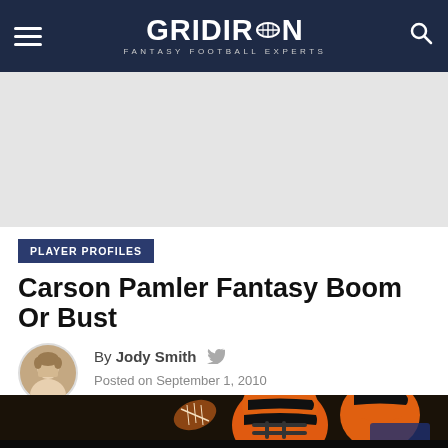GRIDIRON FANTASY FOOTBALL EXPERTS
[Figure (photo): Advertisement banner placeholder, light gray background]
PLAYER PROFILES
Carson Pamler Fantasy Boom Or Bust
By Jody Smith  Posted on September 1, 2010
[Figure (photo): Football player in Cincinnati Bengals orange and black striped helmet and uniform, holding a football, game action shot]